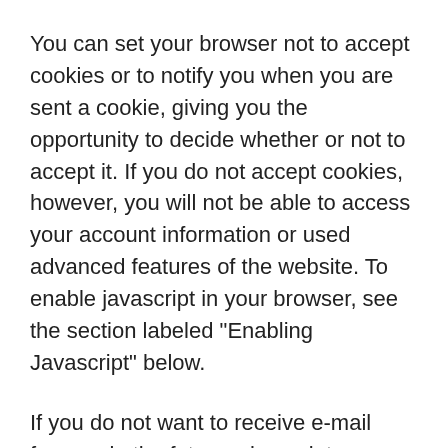You can set your browser not to accept cookies or to notify you when you are sent a cookie, giving you the opportunity to decide whether or not to accept it. If you do not accept cookies, however, you will not be able to access your account information or used advanced features of the website. To enable javascript in your browser, see the section labeled "Enabling Javascript" below.
If you do not want to receive e-mail from us in the future, please let us know by sending us e-mail at the above address.
From time to time, we make the e-mail addresses of those who access our site available to other reputable